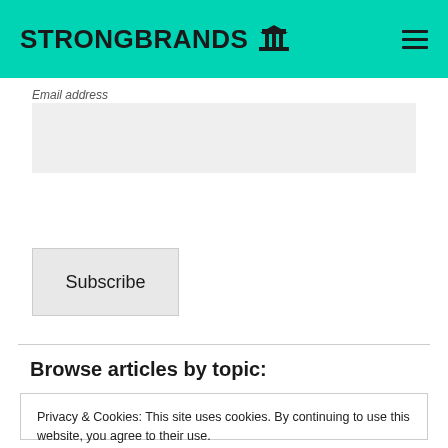STRONGBRANDS
Email address
Subscribe
Browse articles by topic:
Privacy & Cookies: This site uses cookies. By continuing to use this website, you agree to their use.
To find out more, including how to control cookies, see here: Cookie Policy
Close and accept